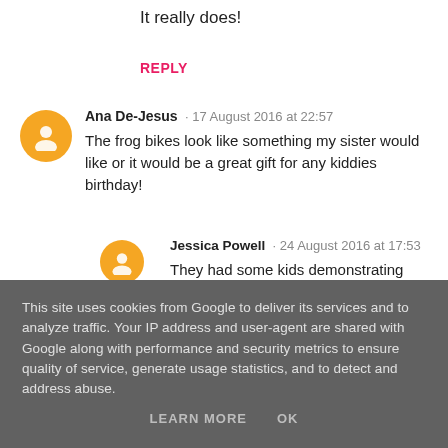It really does!
REPLY
Ana De-Jesus · 17 August 2016 at 22:57
The frog bikes look like something my sister would like or it would be a great gift for any kiddies birthday!
Jessica Powell · 24 August 2016 at 17:53
They had some kids demonstrating them at the opening and they looked awesome!
This site uses cookies from Google to deliver its services and to analyze traffic. Your IP address and user-agent are shared with Google along with performance and security metrics to ensure quality of service, generate usage statistics, and to detect and address abuse.
LEARN MORE   OK